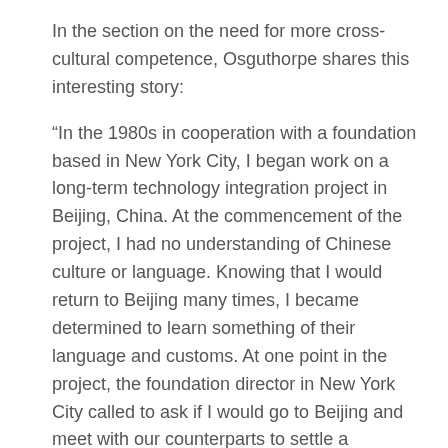In the section on the need for more cross-cultural competence, Osguthorpe shares this interesting story:
“In the 1980s in cooperation with a foundation based in New York City, I began work on a long-term technology integration project in Beijing, China. At the commencement of the project, I had no understanding of Chinese culture or language. Knowing that I would return to Beijing many times, I became determined to learn something of their language and customs. At one point in the project, the foundation director in New York City called to ask if I would go to Beijing and meet with our counterparts to settle a misunderstanding. By that time I could converse in Chinese and was beginning to understand something of the culture. When I arrived in Beijing and met with the project manager, I could sense immediately that something was